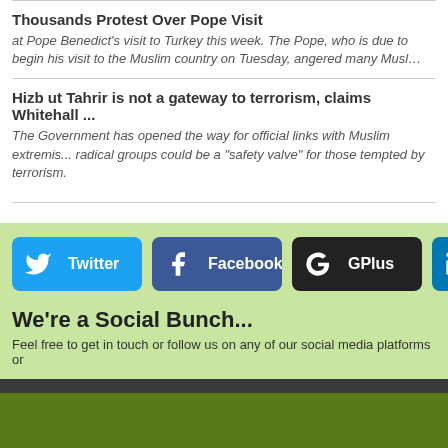Thousands Protest Over Pope Visit
at Pope Benedict's visit to Turkey this week. The Pope, who is due to begin his visit to the Muslim country on Tuesday, angered many Musl…
Hizb ut Tahrir is not a gateway to terrorism, claims Whitehall ...
The Government has opened the way for official links with Muslim extremists after suggesting radical groups could be a "safety valve" for those tempted by terrorism.
[Figure (other): Social media share buttons: Twitter, Facebook, GPlus, LinkedIn]
We're a Social Bunch...
Feel free to get in touch or follow us on any of our social media platforms or